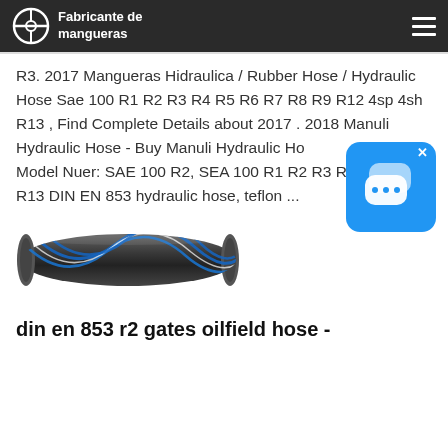Fabricante de mangueras
R3. 2017 Mangueras Hidraulica / Rubber Hose / Hydraulic Hose Sae 100 R1 R2 R3 R4 R5 R6 R7 R8 R9 R12 4sp 4sh R13 , Find Complete Details about 2017 . 2018 Manuli Hydraulic Hose - Buy Manuli Hydraulic Hose Model Nuer: SAE 100 R2, SEA 100 R1 R2 R3 R6 R13 DIN EN 853 hydraulic hose, teflon ...
[Figure (photo): Dark gray hydraulic hose with blue and white spiral stripes, photographed on white background]
din en 853 r2 gates oilfield hose -